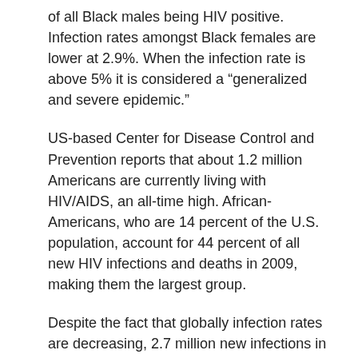of all Black males being HIV positive. Infection rates amongst Black females are lower at 2.9%. When the infection rate is above 5% it is considered a “generalized and severe epidemic.”
US-based Center for Disease Control and Prevention reports that about 1.2 million Americans are currently living with HIV/AIDS, an all-time high. African-Americans, who are 14 percent of the U.S. population, account for 44 percent of all new HIV infections and deaths in 2009, making them the largest group.
Despite the fact that globally infection rates are decreasing, 2.7 million new infections in 2012 compared to 3.2 million in 1990, the US still about 50,000 new infections every year, according to UN